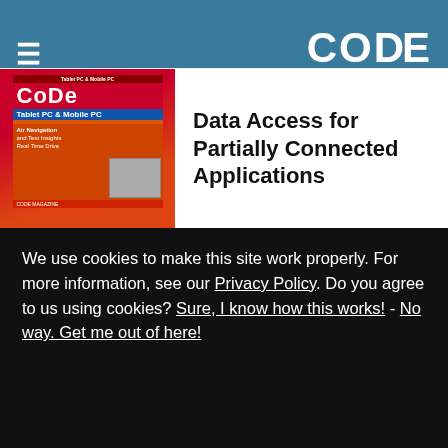CODE Magazine — An EPS Company
partial classes, generics, and others. But the innovation does not stop there! Microsoft (and Anders Hejlsberg in particular) have already allowed us a sneak peek at some of the new features that will be available in C# 3.0.
C#
[Figure (photo): CODE Magazine cover — Tablet PC & Mobile PC issue]
Data Access for Partially Connected Applications
We use cookies to make this site work properly. For more information, see our Privacy Policy. Do you agree to us using cookies? Sure, I know how this works! - No way. Get me out of here!